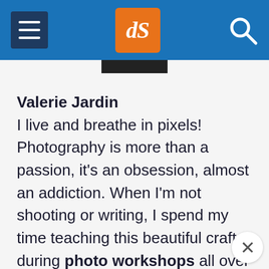dPS website header navigation bar with hamburger menu, dS logo, and search icon
Valerie Jardin
I live and breathe in pixels! Photography is more than a passion, it's an obsession, almost an addiction. When I'm not shooting or writing, I spend my time teaching this beautiful craft during photo workshops all over the world! I am also thrilled to be an official X Photographer for Fujifilm USA. Visit my Website